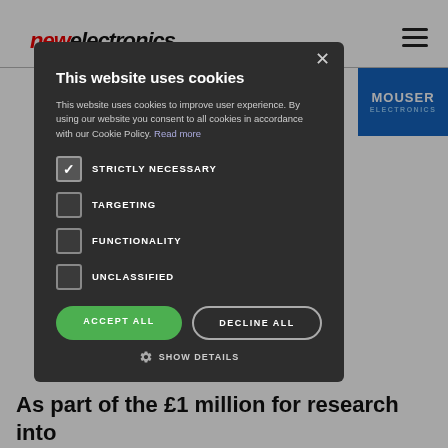newelectronics
[Figure (screenshot): Cookie consent modal dialog on the New Electronics website. Modal has dark background with title 'This website uses cookies', body text explaining cookie usage, four checkboxes (STRICTLY NECESSARY checked, TARGETING unchecked, FUNCTIONALITY unchecked, UNCLASSIFIED unchecked), ACCEPT ALL and DECLINE ALL buttons, and a SHOW DETAILS option. Background shows the New Electronics logo and a Mouser Electronics banner.]
As part of the £1 million for research into